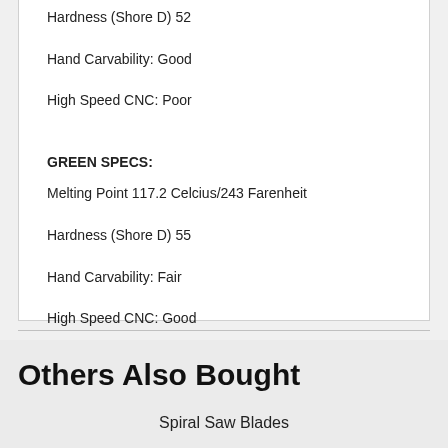Hardness (Shore D) 52
Hand Carvability: Good
High Speed CNC: Poor
GREEN SPECS:
Melting Point 117.2 Celcius/243 Farenheit
Hardness (Shore D) 55
Hand Carvability: Fair
High Speed CNC: Good
(JWT1062)
Others Also Bought
Spiral Saw Blades